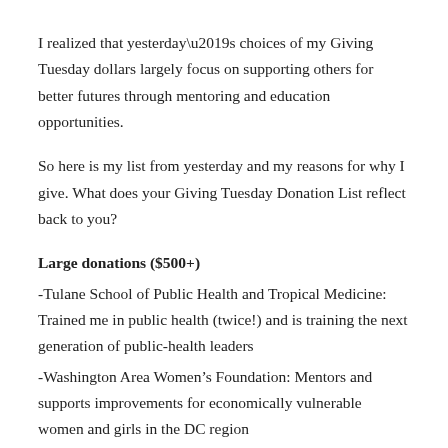I realized that yesterday’s choices of my Giving Tuesday dollars largely focus on supporting others for better futures through mentoring and education opportunities.
So here is my list from yesterday and my reasons for why I give. What does your Giving Tuesday Donation List reflect back to you?
Large donations ($500+)
-Tulane School of Public Health and Tropical Medicine: Trained me in public health (twice!) and is training the next generation of public-health leaders
-Washington Area Women’s Foundation: Mentors and supports improvements for economically vulnerable women and girls in the DC region